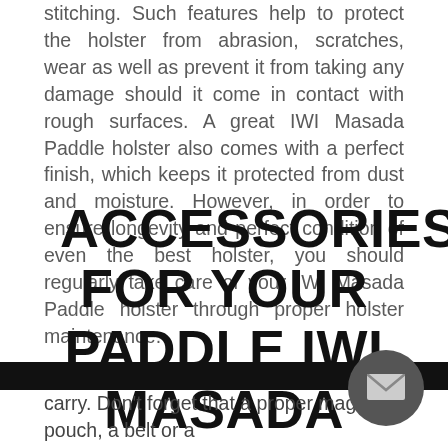stitching. Such features help to protect the holster from abrasion, scratches, wear as well as prevent it from taking any damage should it come in contact with rough surfaces. A great IWI Masada Paddle holster also comes with a perfect finish, which keeps it protected from dust and moisture. However, in order to ensure longevity and perfect condition of even the best holster, you should regularly take care of your IWI Masada Paddle holster through proper holster maintenance.
ACCESSORIES FOR YOUR PADDLE IWI MASADA HOLSTER
carry. Don't forget that a proper magazine pouch, a belt or a